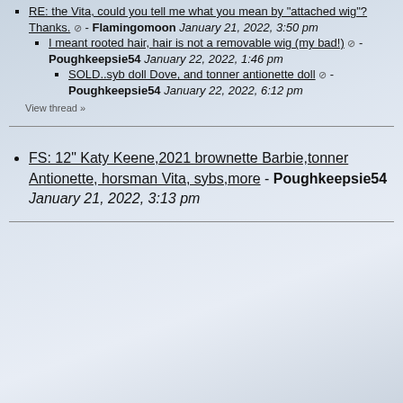RE: the Vita, could you tell me what you mean by "attached wig"? Thanks. ⊘ - Flamingomoon January 21, 2022, 3:50 pm
I meant rooted hair, hair is not a removable wig (my bad!) ⊘ - Poughkeepsie54 January 22, 2022, 1:46 pm
SOLD..syb doll Dove, and tonner antionette doll ⊘ - Poughkeepsie54 January 22, 2022, 6:12 pm
View thread »
FS: 12" Katy Keene,2021 brownette Barbie,tonner Antionette, horsman Vita, sybs,more - Poughkeepsie54 January 21, 2022, 3:13 pm